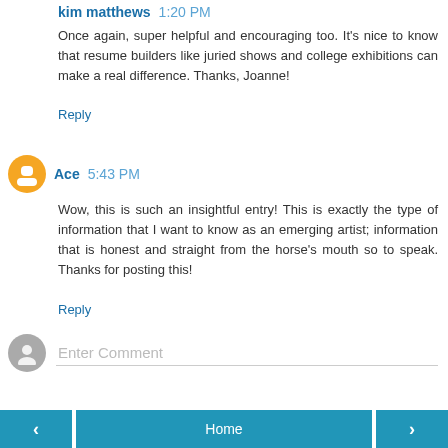kim matthews  1:20 PM
Once again, super helpful and encouraging too. It's nice to know that resume builders like juried shows and college exhibitions can make a real difference. Thanks, Joanne!
Reply
Ace  5:43 PM
Wow, this is such an insightful entry! This is exactly the type of information that I want to know as an emerging artist; information that is honest and straight from the horse's mouth so to speak. Thanks for posting this!
Reply
Enter Comment
< Home >